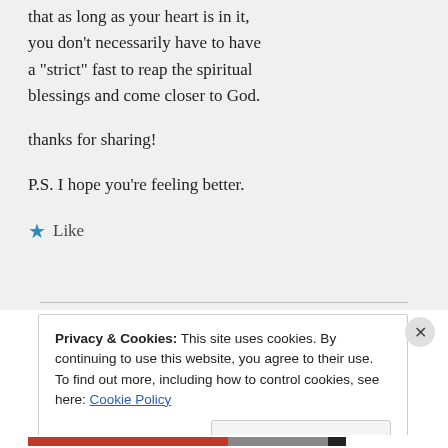that as long as your heart is in it, you don’t necessarily have to have a “strict” fast to reap the spiritual blessings and come closer to God.

thanks for sharing!

P.S. I hope you’re feeling better.
★ Like
Privacy & Cookies: This site uses cookies. By continuing to use this website, you agree to their use.
To find out more, including how to control cookies, see here: Cookie Policy
Close and accept